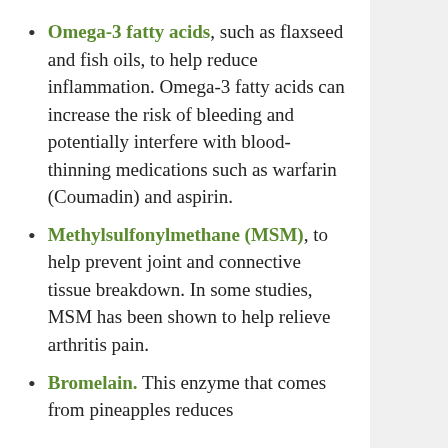Omega-3 fatty acids, such as flaxseed and fish oils, to help reduce inflammation. Omega-3 fatty acids can increase the risk of bleeding and potentially interfere with blood-thinning medications such as warfarin (Coumadin) and aspirin.
Methylsulfonylmethane (MSM), to help prevent joint and connective tissue breakdown. In some studies, MSM has been shown to help relieve arthritis pain.
Bromelain. This enzyme that comes from pineapples reduces